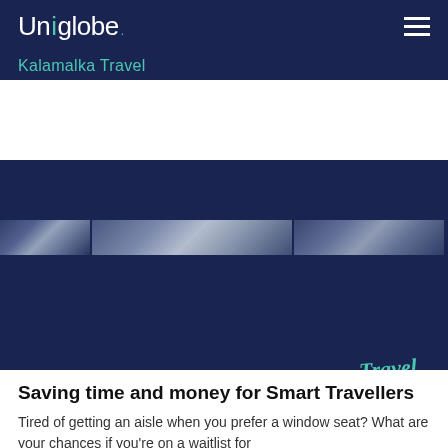[Figure (logo): Uniglobe. Kalamalka Travel logo on dark navy background with hamburger menu icon]
[Figure (photo): Hero image carousel showing aerial/travel scenes in dark navy tones with 'Travel Well' handwritten script and three carousel dots]
Saving time and money for Smart Travellers
Tired of getting an aisle when you prefer a window seat? What are your chances if you're on a waitlist for